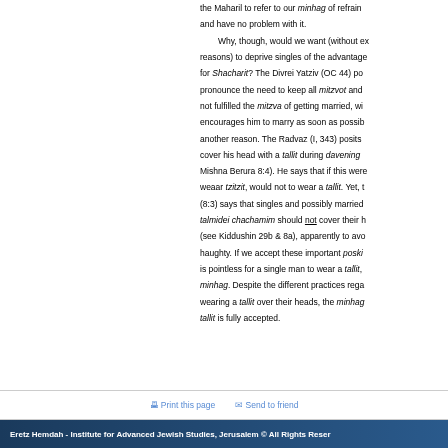the Maharil to refer to our minhag of refraining and have no problem with it. Why, though, would we want (without ex reasons) to deprive singles of the advantage for Shacharit? The Divrei Yatziv (OC 44) po pronounce the need to keep all mitzvot and not fulfilled the mitzva of getting married, wi encourages him to marry as soon as possib another reason. The Radvaz (I, 343) posits cover his head with a tallit during davening Mishna Berura 8:4). He says that if this wer weaar tzitzit, would not to wear a tallit. Yet, (8:3) says that singles and possibly married talmidei chachamim should not cover their h (see Kiddushin 29b & 8a), apparently to avo haughty. If we accept these important poski is pointless for a single man to wear a tallit, minhag. Despite the different practices rega wearing a tallit over their heads, the minhag tallit is fully accepted.
Print this page   Send to friend
Eretz Hemdah - Institute for Advanced Jewish Studies, Jerusalem © All Rights Reser